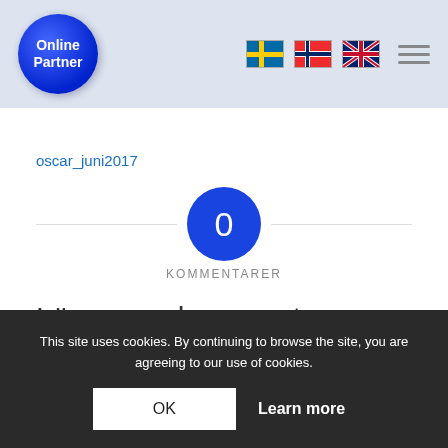[Figure (logo): Online Partner logo — blue circle with white text 'Online Partner']
oscar_juni2017
[Figure (infographic): Blue circle with white '0' in center, label 'KOMMENTARER' below]
Lämna en kommentar
Want to join the discussion?
Dela med dig av dina synpunkter!
Du måste vara inloggad för att publicera en kommentar.
This site uses cookies. By continuing to browse the site, you are agreeing to our use of cookies.